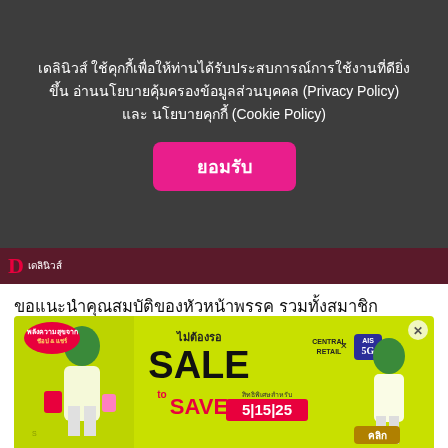เดลินิวส์
เดลินิวส์ ใช้คุกกี้เพื่อให้ท่านได้รับประสบการณ์การใช้งานที่ดียิ่งขึ้น อ่านนโยบายคุ้มครองข้อมูลส่วนบุคคล (Privacy Policy) และ นโยบายคุกกี้ (Cookie Policy)
ยอมรับ
ขอแนะนำคุณสมบัติของหัวหน้าพรรค รวมทั้งสมาชิกพรรค ดังนี้
1. เป็นคนเนรคุณ ทรยศ หมา 2 ราง บ่าว 2 นาย พอนายตกต่ำก็เอาหัวนายเก่าไปถวายสวามิภักดิ์กับนายใหม่
[Figure (photo): Advertisement banner: Central Retail x AIS 5G SALE to SAVE 5|15|25 promotion on lime green background with anime-style characters]